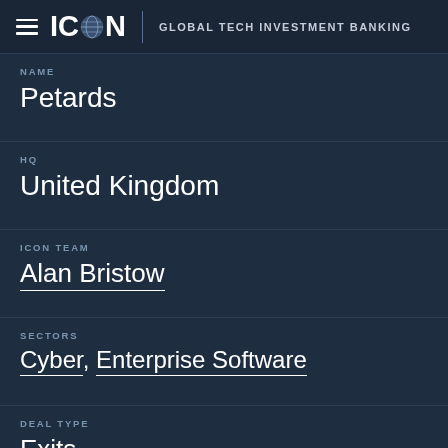ICON | GLOBAL TECH INVESTMENT BANKING
NAME
Petards
HQ
United Kingdom
ICON TEAM
Alan Bristow
SECTORS
Cyber, Enterprise Software
DEAL TYPE
Exits